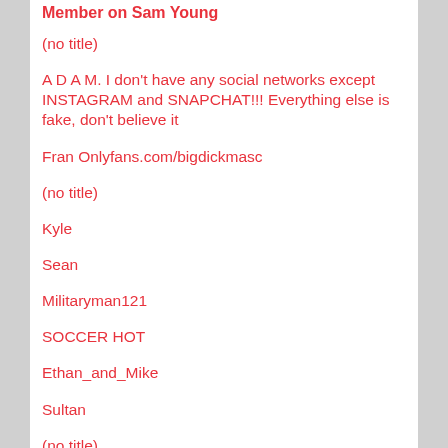Member on Sam Young
(no title)
A D A M. I don't have any social networks except INSTAGRAM and SNAPCHAT!!! Everything else is fake, don't believe it
Fran Onlyfans.com/bigdickmasc
(no title)
Kyle
Sean
Militaryman121
SOCCER HOT
Ethan_and_Mike
Sultan
(no title)